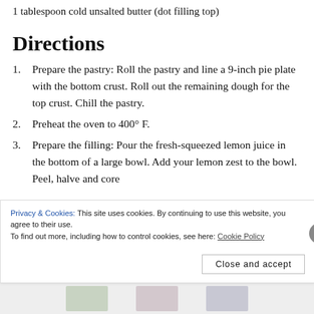1 tablespoon cold unsalted butter (dot filling top)
Directions
Prepare the pastry: Roll the pastry and line a 9-inch pie plate with the bottom crust. Roll out the remaining dough for the top crust. Chill the pastry.
Preheat the oven to 400° F.
Prepare the filling: Pour the fresh-squeezed lemon juice in the bottom of a large bowl. Add your lemon zest to the bowl. Peel, halve and core
Privacy & Cookies: This site uses cookies. By continuing to use this website, you agree to their use.
To find out more, including how to control cookies, see here: Cookie Policy
Close and accept